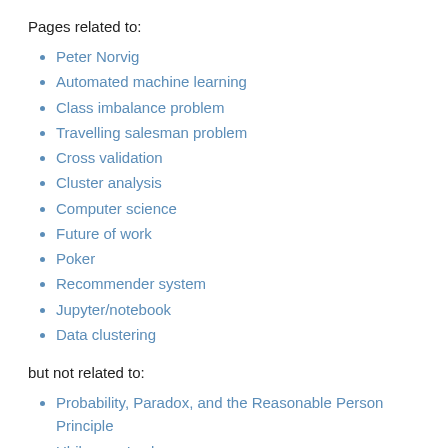Pages related to:
Peter Norvig
Automated machine learning
Class imbalance problem
Travelling salesman problem
Cross validation
Cluster analysis
Computer science
Future of work
Poker
Recommender system
Jupyter/notebook
Data clustering
but not related to:
Probability, Paradox, and the Reasonable Person Principle
Ulrike von Luxburg
Interdisciplinary research